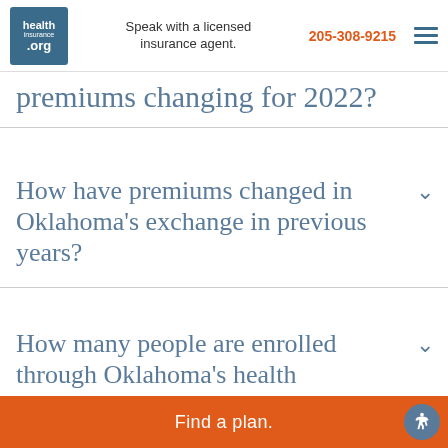Speak with a licensed insurance agent. 205-308-9215
premiums changing for 2022?
How have premiums changed in Oklahoma's exchange in previous years?
How many people are enrolled through Oklahoma's health insurance exchange?
Find a plan.